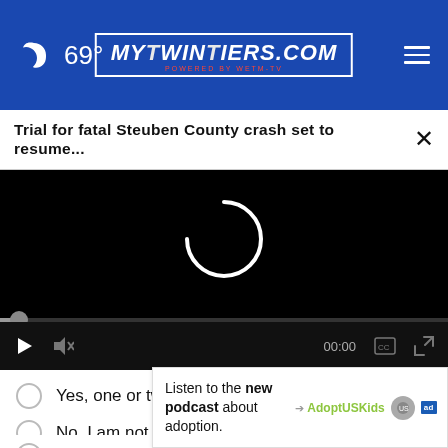69° MyTwinTiers.com
Trial for fatal Steuben County crash set to resume... ×
[Figure (screenshot): Black video player with loading spinner and playback controls showing 00:00]
Yes, one or two
No, I am not
Listen to the new podcast about adoption. Adopt US Kids [ad]